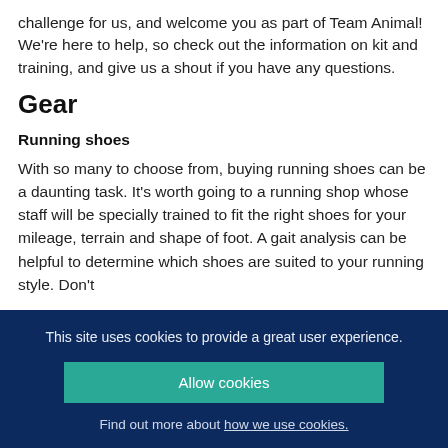challenge for us, and welcome you as part of Team Animal! We're here to help, so check out the information on kit and training, and give us a shout if you have any questions.
Gear
Running shoes
With so many to choose from, buying running shoes can be a daunting task. It's worth going to a running shop whose staff will be specially trained to fit the right shoes for your mileage, terrain and shape of foot. A gait analysis can be helpful to determine which shoes are suited to your running style. Don't
This site uses cookies to provide a great user experience.
Allow cookies
Find out more about how we use cookies.